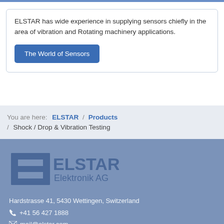ELSTAR has wide experience in supplying sensors chiefly in the area of vibration and Rotating machinery applications.
The World of Sensors
You are here: ELSTAR / Products / Shock / Drop & Vibration Testing
[Figure (logo): ELSTAR Elektronik AG logo with stylized E symbol in blue-grey tones]
Hardstrasse 41, 5430 Wettingen, Switzerland
+41 56 427 1888
mail@elstar.com